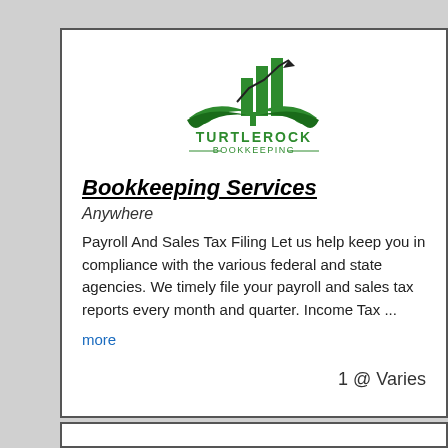[Figure (logo): Turtlerock Bookkeeping logo — green bar chart with wings/book motif, text TURTLEROCK BOOKKEEPING below]
Bookkeeping Services
Anywhere
Payroll And Sales Tax Filing Let us help keep you in compliance with the various federal and state agencies. We timely file your payroll and sales tax reports every month and quarter. Income Tax ...
more
1 @ Varies